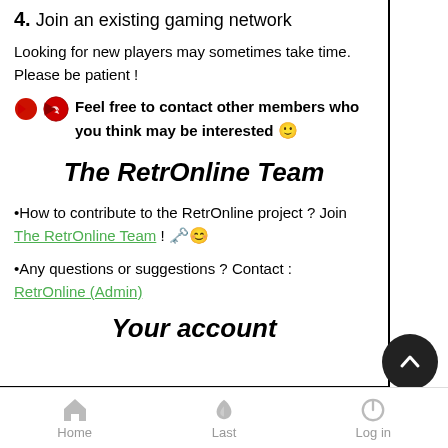4. Join an existing gaming network
Looking for new players may sometimes take time. Please be patient !
Feel free to contact other members who you think may be interested 🙂
The RetrOnline Team
•How to contribute to the RetrOnline project ? Join The RetrOnline Team ! 🔑🙂
•Any questions or suggestions ? Contact : RetrOnline (Admin)
Your account
Home   Last   Log in